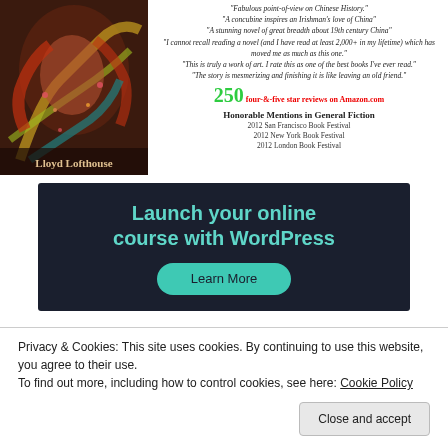[Figure (illustration): Book cover for a novel by Lloyd Lofthouse featuring a decorative woman with flowing hair and serpents on a dark background, with author name 'Lloyd Lofthouse' at bottom]
"Fabulous point-of-view on Chinese History." "A concubine inspires an Irishman's love of China" "A stunning novel of great breadth about 19th century China" "I cannot recall reading a novel (and I have read at least 2,000+ in my lifetime) which has moved me as much as this one." "This is truly a work of art. I rate this as one of the best books I've ever read." "The story is mesmerizing and finishing it is like leaving an old friend."
250 four-&-five star reviews on Amazon.com
Honorable Mentions in General Fiction
2012 San Francisco Book Festival
2012 New York Book Festival
2012 London Book Festival
[Figure (infographic): Dark navy advertisement banner reading 'Launch your online course with WordPress' with a teal 'Learn More' button]
Privacy & Cookies: This site uses cookies. By continuing to use this website, you agree to their use.
To find out more, including how to control cookies, see here: Cookie Policy
Close and accept